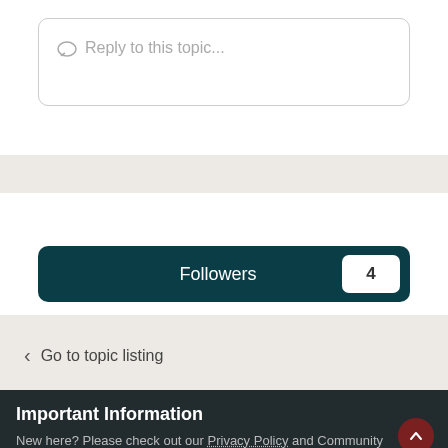Reply to this topic...
Followers 4
Go to topic listing
Theme ▾   Privacy Policy   Contact Us
Important Information
New here? Please check out our Privacy Policy and Community Guidelines
✓  I accept